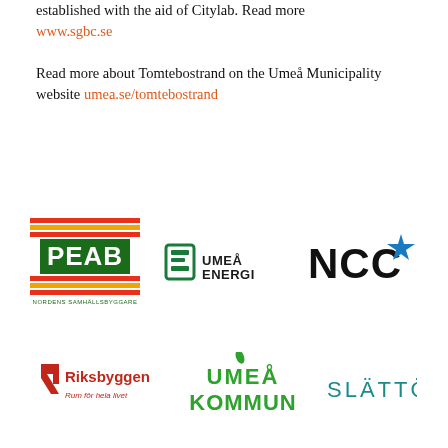established with the aid of Citylab. Read more www.sgbc.se
Read more about Tomtebostrand on the Umeå Municipality website umea.se/tomtebostrand
[Figure (logo): PEAB – Nordens Samhällsbyggare logo]
[Figure (logo): Umeå Energi logo]
[Figure (logo): NCC logo with blue star]
[Figure (logo): Riksbyggen – Rum för hela livet logo]
[Figure (logo): Umeå Kommun logo]
[Figure (logo): Slättö logo]